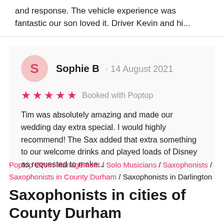and response. The vehicle experience was fantastic our son loved it. Driver Kevin and hi...
Sophie B · 14 August 2021
★★★★★ Booked with Poptop
Tim was absolutely amazing and made our wedding day extra special. I would highly recommend! The Sax added that extra something to our welcome drinks and played loads of Disney as requested to make...
Poptop Event Management / Solo Musicians / Saxophonists / Saxophonists in County Durham / Saxophonists in Darlington
Saxophonists in cities of County Durham